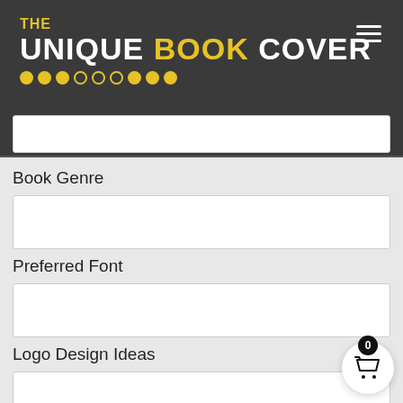THE UNIQUE BOOK COVER
Book Genre
Preferred Font
Logo Design Ideas
Send us samples